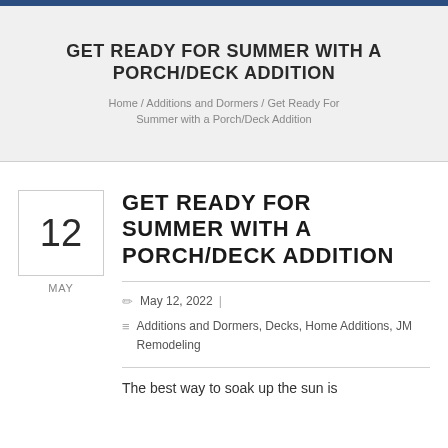GET READY FOR SUMMER WITH A PORCH/DECK ADDITION
Home / Additions and Dormers / Get Ready For Summer with a Porch/Deck Addition
GET READY FOR SUMMER WITH A PORCH/DECK ADDITION
May 12, 2022 | Additions and Dormers, Decks, Home Additions, JM Remodeling
The best way to soak up the sun is